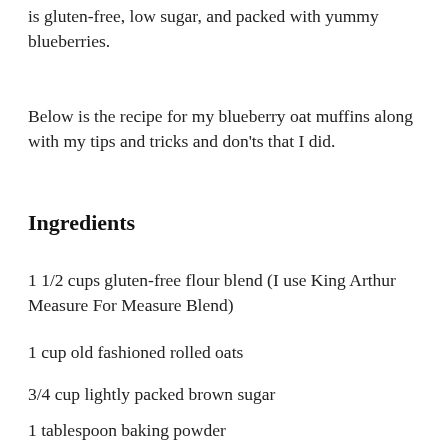is gluten-free, low sugar, and packed with yummy blueberries.
Below is the recipe for my blueberry oat muffins along with my tips and tricks and don'ts that I did.
Ingredients
1 1/2 cups gluten-free flour blend (I use King Arthur Measure For Measure Blend)
1 cup old fashioned rolled oats
3/4 cup lightly packed brown sugar
1 tablespoon baking powder
1 teaspoon ground cinnamon